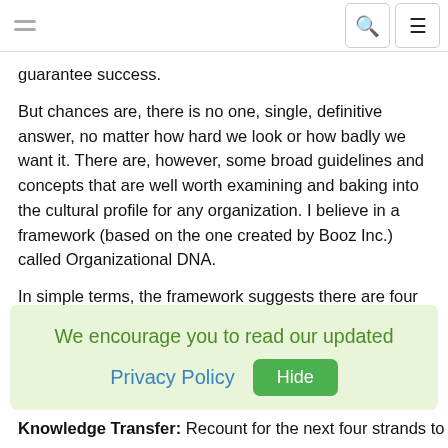guarantee success.
But chances are, there is no one, single, definitive answer, no matter how hard we look or how badly we want it. There are, however, some broad guidelines and concepts that are well worth examining and baking into the cultural profile for any organization. I believe in a framework (based on the one created by Booz Inc.) called Organizational DNA.
In simple terms, the framework suggests there are four interwoven strands of DNA that can be decoded to help diagnose the state of an organization's culture. It is a simple concept but, in fact, the power of its insight comes from that simplicity. The four strands to examine are:
We encourage you to read our updated Privacy Policy  Hide
Knowledge Transfer: Recount for the next four strands to examine...